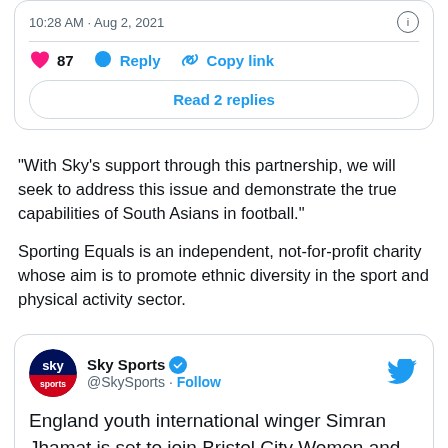10:28 AM · Aug 2, 2021
87  Reply  Copy link
Read 2 replies
“With Sky’s support through this partnership, we will seek to address this issue and demonstrate the true capabilities of South Asians in football.”
Sporting Equals is an independent, not-for-profit charity whose aim is to promote ethnic diversity in the sport and physical activity sector.
[Figure (screenshot): Sky Sports tweet card. Profile: Sky Sports @SkySports with verified badge and follow link. Tweet text: 'England youth international winger Simran Jhamat is set to join Bristol City Women and become the first British South Asian professional in the club’s history 💪']